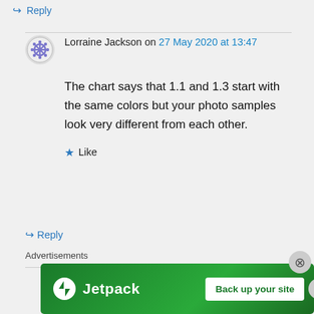↪ Reply
Lorraine Jackson on 27 May 2020 at 13:47
The chart says that 1.1 and 1.3 start with the same colors but your photo samples look very different from each other.
★ Like
↪ Reply
Advertisements
[Figure (infographic): Jetpack advertisement banner with green background showing Jetpack logo and 'Back up your site' button]